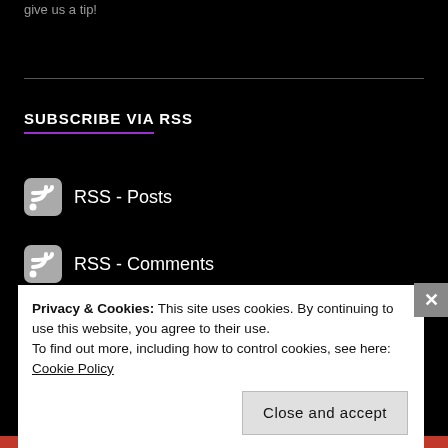give us a tip!
SUBSCRIBE VIA RSS
RSS - Posts
RSS - Comments
Privacy & Cookies: This site uses cookies. By continuing to use this website, you agree to their use.
To find out more, including how to control cookies, see here: Cookie Policy
Close and accept